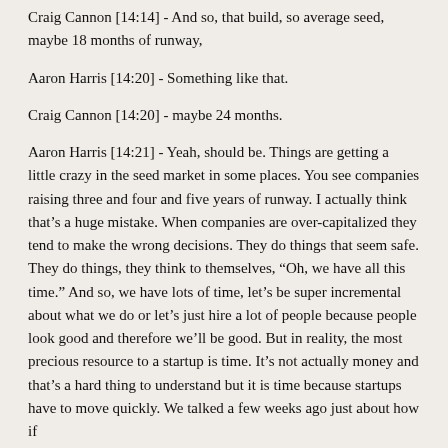Craig Cannon [14:14] - And so, that build, so average seed, maybe 18 months of runway,
Aaron Harris [14:20] - Something like that.
Craig Cannon [14:20] - maybe 24 months.
Aaron Harris [14:21] - Yeah, should be. Things are getting a little crazy in the seed market in some places. You see companies raising three and four and five years of runway. I actually think that’s a huge mistake. When companies are over-capitalized they tend to make the wrong decisions. They do things that seem safe. They do things, they think to themselves, “Oh, we have all this time.” And so, we have lots of time, let’s be super incremental about what we do or let’s just hire a lot of people because people look good and therefore we’ll be good. But in reality, the most precious resource to a startup is time. It’s not actually money and that’s a hard thing to understand but it is time because startups have to move quickly. We talked a few weeks ago just about how if